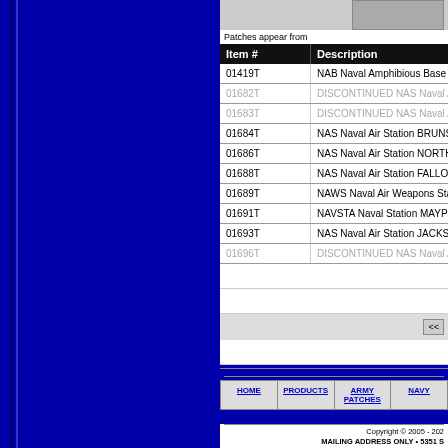[Figure (photo): Partial view of a military patch image at top]
Patches appear from
| Item # | Description |
| --- | --- |
| 01419T | NAB Naval Amphibious Base COR... |
| 01682T | DISCONTINUED NAS Naval Air S... |
| 01683T | DISCONTINUED NAS Naval Air S... |
| 01684T | NAS Naval Air Station BRUNSWI... |
| 01686T | NAS Naval Air Station NORTH IS... |
| 01688T | NAS Naval Air Station FALLON N... |
| 01689T | NAWS Naval Air Weapons Station... |
| 01691T | NAVSTA Naval Station MAYPORT... |
| 01693T | NAS Naval Air Station JACKSON... |
| 01696T | DISCONTINUED NAS Naval Air S... |
HOME | PRODUCTS | ARMY PATCHES | NAVY...
Copyright © 2005 - 202... MAILING ADDRESS ONLY • 5351 S...